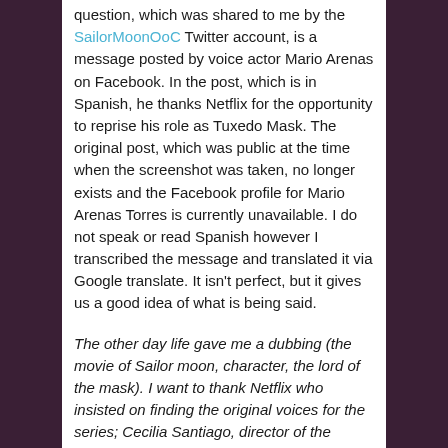question, which was shared to me by the SailorMoonOoC Twitter account, is a message posted by voice actor Mario Arenas on Facebook. In the post, which is in Spanish, he thanks Netflix for the opportunity to reprise his role as Tuxedo Mask. The original post, which was public at the time when the screenshot was taken, no longer exists and the Facebook profile for Mario Arenas Torres is currently unavailable. I do not speak or read Spanish however I transcribed the message and translated it via Google translate. It isn't perfect, but it gives us a good idea of what is being said.
The other day life gave me a dubbing (the movie of Sailor moon, character, the lord of the mask). I want to thank Netflix who insisted on finding the original voices for the series; Cecilia Santiago, director of the dubbing that I take on a fly; Carmen from production who treated me like a rock star; to the technician who put all the meat on the grill and finally thanks to Sonygraf.
This pretty clearly indicates that Mario Arenas was reprising the role of Tuxedo Mask for Netflix, who made an effort to use the original voice actors from this Spanish